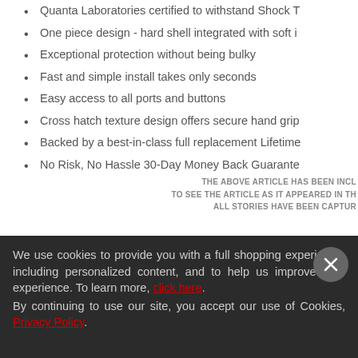Quanta Laboratories certified to withstand Shock T
One piece design - hard shell integrated with soft i
Exceptional protection without being bulky
Fast and simple install takes only seconds
Easy access to all ports and buttons
Cross hatch texture design offers secure hand grip
Backed by a best-in-class full replacement Lifetime
No Risk, No Hassle 30-Day Money Back Guarante
THE ABOVE ARTICLE HAS BEEN INCL
TO SEE THE ARTICLE AS IT APPEARED IN TH
ALL STORIES HAVE BEEN CAPTUR
We use cookies to provide you with a full shopping experience, including personalized content, and to help us improve your experience. To learn more, click here. By continuing to use our site, you accept our use of Cookies, Privacy Policy.